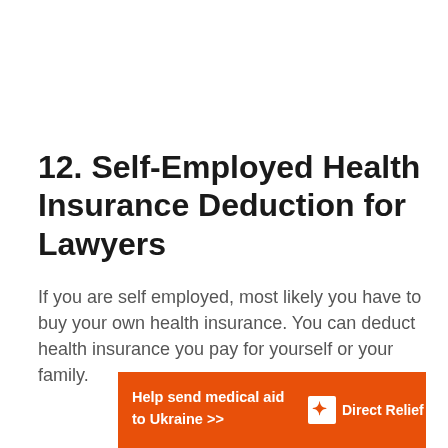12. Self-Employed Health Insurance Deduction for Lawyers
If you are self employed, most likely you have to buy your own health insurance. You can deduct health insurance you pay for yourself or your family.
[Figure (infographic): Orange banner advertisement reading 'Help send medical aid to Ukraine >>' with Direct Relief logo on the right side]